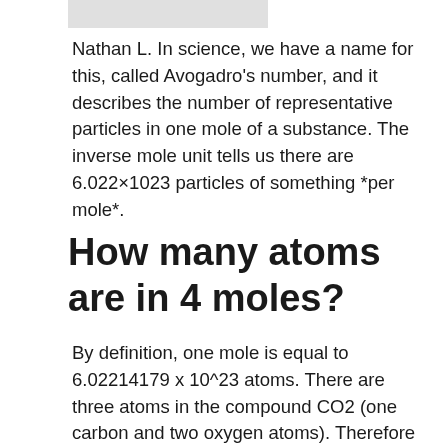Nathan L. In science, we have a name for this, called Avogadro's number, and it describes the number of representative particles in one mole of a substance. The inverse mole unit tells us there are 6.022×1023 particles of something *per mole*.
How many atoms are in 4 moles?
By definition, one mole is equal to 6.02214179 x 10^23 atoms. There are three atoms in the compound CO2 (one carbon and two oxygen atoms). Therefore the answer is 3 atoms x 4 moles x 6.02214179 x